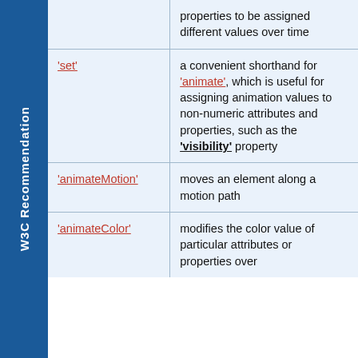| Element | Description |
| --- | --- |
|  | properties to be assigned different values over time |
| 'set' | a convenient shorthand for 'animate', which is useful for assigning animation values to non-numeric attributes and properties, such as the 'visibility' property |
| 'animateMotion' | moves an element along a motion path |
| 'animateColor' | modifies the color value of particular attributes or properties over... |